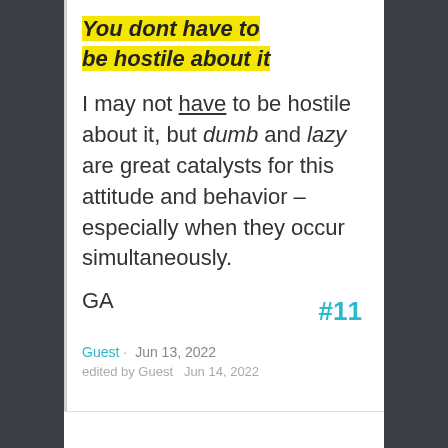You dont have to be hostile about it
I may not have to be hostile about it, but dumb and lazy are great catalysts for this attitude and behavior – especially when they occur simultaneously.
GA
Guest · Jun 13, 2022
edited by Guest  Jun 14, 2022
#11